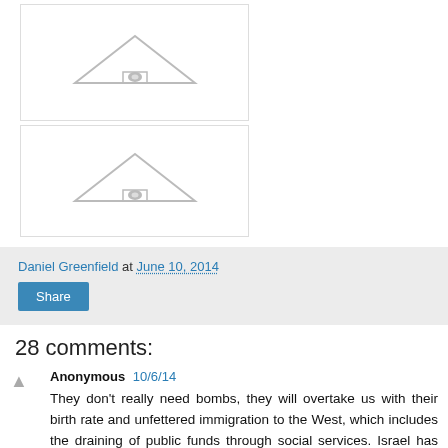[Figure (illustration): Two stacked boxes each containing a triangle/house-roof shaped icon in gray]
Daniel Greenfield at June 10, 2014
Share
28 comments:
Anonymous 10/6/14
They don't really need bombs, they will overtake us with their birth rate and unfettered immigration to the West, which includes the draining of public funds through social services. Israel has built a fence along at least, some of its' borders, and there have been demonstrations against